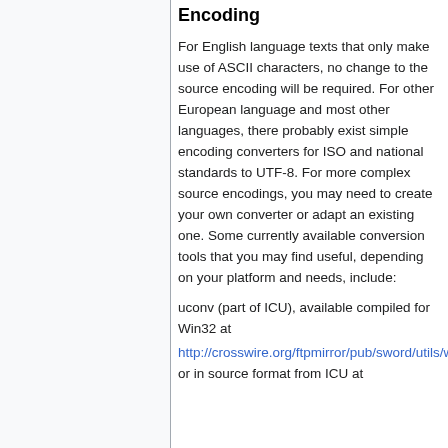Encoding
For English language texts that only make use of ASCII characters, no change to the source encoding will be required. For other European language and most other languages, there probably exist simple encoding converters for ISO and national standards to UTF-8. For more complex source encodings, you may need to create your own converter or adapt an existing one. Some currently available conversion tools that you may find useful, depending on your platform and needs, include:
uconv (part of ICU), available compiled for Win32 at http://crosswire.org/ftpmirror/pub/sword/utils/win32/uconv.zip or in source format from ICU at